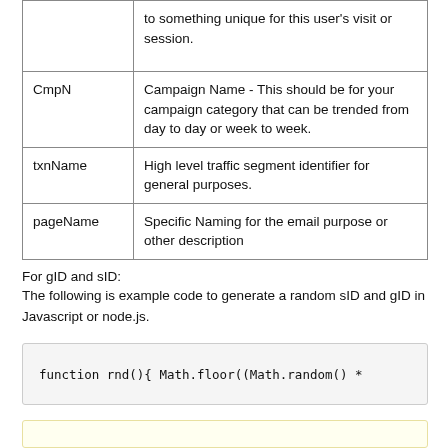| Parameter | Description |
| --- | --- |
|  | to something unique for this user's visit or session. |
| CmpN | Campaign Name - This should be for your campaign category that can be trended from day to day or week to week. |
| txnName | High level traffic segment identifier for general purposes. |
| pageName | Specific Naming for the email purpose or other description |
For gID and sID:
The following is example code to generate a random sID and gID in Javascript or node.js.
function rnd(){ Math.floor((Math.random() *